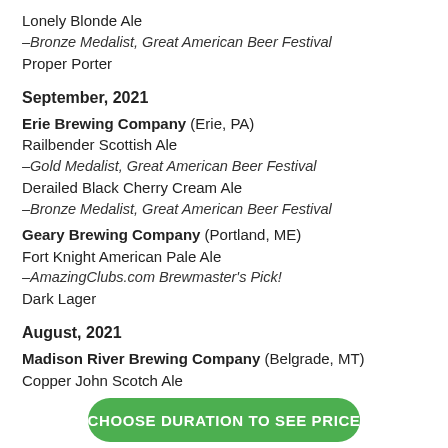Lonely Blonde Ale
–Bronze Medalist, Great American Beer Festival
Proper Porter
September, 2021
Erie Brewing Company (Erie, PA)
Railbender Scottish Ale
–Gold Medalist, Great American Beer Festival
Derailed Black Cherry Cream Ale
–Bronze Medalist, Great American Beer Festival
Geary Brewing Company (Portland, ME)
Fort Knight American Pale Ale
–AmazingClubs.com Brewmaster's Pick!
Dark Lager
August, 2021
Madison River Brewing Company (Belgrade, MT)
Copper John Scotch Ale
–Gold Medalist, Great American Beer Festival
CHOOSE DURATION TO SEE PRICE